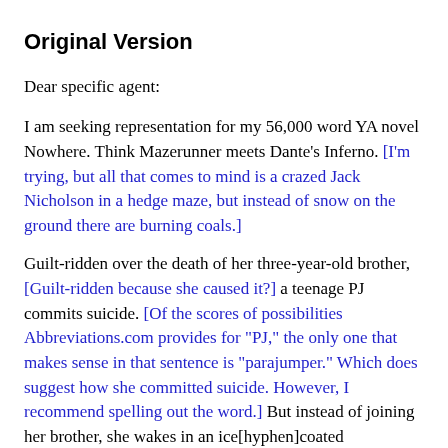Original Version
Dear specific agent:
I am seeking representation for my 56,000 word YA novel Nowhere. Think Mazerunner meets Dante's Inferno. [I'm trying, but all that comes to mind is a crazed Jack Nicholson in a hedge maze, but instead of snow on the ground there are burning coals.]
Guilt-ridden over the death of her three-year-old brother, [Guilt-ridden because she caused it?] a teenage PJ commits suicide. [Of the scores of possibilities Abbreviations.com provides for "PJ," the only one that makes sense in that sentence is "parajumper." Which does suggest how she committed suicide. However, I recommend spelling out the word.] But instead of joining her brother, she wakes in an ice[hyphen]coated cave[comma] cold, wet, and in complete darkness surrounded by lost souls circling beneath the ice. [Less wordy than "ice-coated cave, cold, wet, and in complete darkness" would be "dark ice cave." Also, if you're in complete darkness you wouldn't be able to see what's beneath the ice. And if